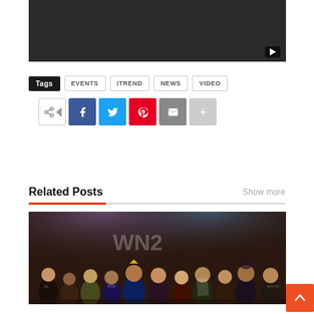[Figure (screenshot): Dark video player thumbnail with YouTube play button in bottom-right corner]
Tags  EVENTS  ITREND  NEWS  VIDEO
[Figure (infographic): Social share buttons row: share icon, Facebook (f), Twitter (bird), Pinterest (p), Email (envelope), More (+)]
Related Posts
Show more
[Figure (photo): Group photo of pageant contestants and attendees at an event, with a stage backdrop showing partial text]